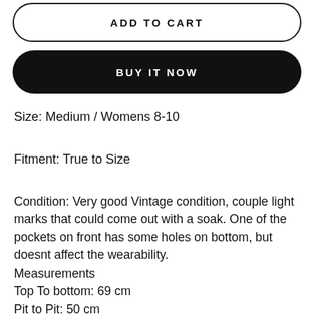ADD TO CART
BUY IT NOW
Size: Medium / Womens 8-10
Fitment: True to Size
Condition: Very good Vintage condition, couple light marks that could come out with a soak. One of the pockets on front has some holes on bottom, but doesnt affect the wearability.
Measurements
Top To bottom: 69 cm
Pit to Pit: 50 cm